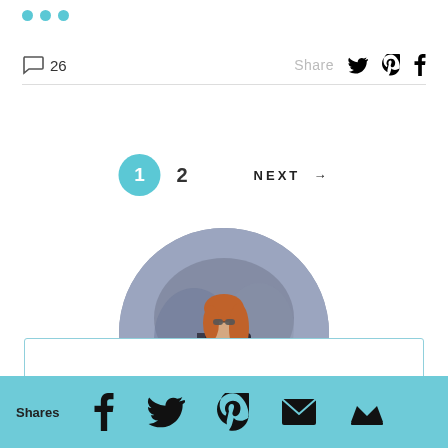[Figure (other): Three teal/cyan dots in a row (decorative header element)]
26
Share
1  2  NEXT →
[Figure (photo): Circular portrait photo of a woman with red hair wearing sunglasses and a dark striped sleeveless dress, posed against a grey textured background]
Shares
[Figure (other): Bottom teal share bar with Facebook, Twitter, Pinterest, email, and crown/bookmark icons]